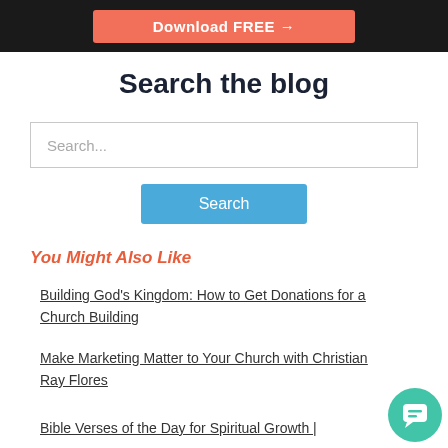[Figure (screenshot): Dark banner with salmon/coral Download FREE button with arrow]
Search the blog
Search...
Search
You Might Also Like
Building God’s Kingdom: How to Get Donations for a Church Building
Make Marketing Matter to Your Church with Christian Ray Flores
Bible Verses of the Day for Spiritual Growth |